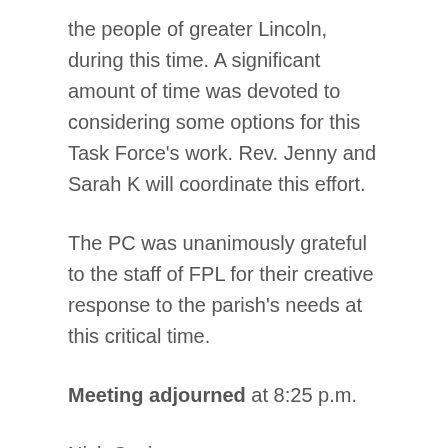the people of greater Lincoln, during this time. A significant amount of time was devoted to considering some options for this Task Force's work. Rev. Jenny and Sarah K will coordinate this effort.
The PC was unanimously grateful to the staff of FPL for their creative response to the parish's needs at this critical time.
Meeting adjourned at 8:25 p.m.
Nick Covino
For the Parish Committee